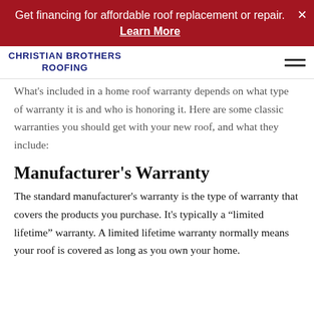Get financing for affordable roof replacement or repair. Learn More
[Figure (logo): Christian Brothers Roofing logo with hamburger menu icon]
What's included in a home roof warranty depends on what type of warranty it is and who is honoring it. Here are some classic warranties you should get with your new roof, and what they include:
Manufacturer's Warranty
The standard manufacturer's warranty is the type of warranty that covers the products you purchase. It's typically a “limited lifetime” warranty. A limited lifetime warranty normally means your roof is covered as long as you own your home.